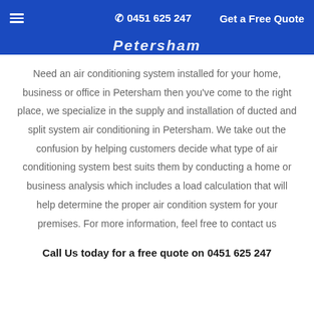☰  ✆ 0451 625 247   Get a Free Quote
Petersham
Need an air conditioning system installed for your home, business or office in Petersham then you've come to the right place, we specialize in the supply and installation of ducted and split system air conditioning in Petersham. We take out the confusion by helping customers decide what type of air conditioning system best suits them by conducting a home or business analysis which includes a load calculation that will help determine the proper air condition system for your premises. For more information, feel free to contact us
Call Us today for a free quote on 0451 625 247